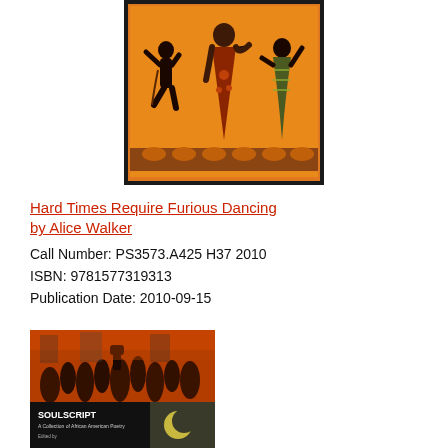[Figure (illustration): Book cover for 'Hard Times Require Furious Dancing' by Alice Walker. Shows stylized African figures dancing against an orange/golden background with decorative border.]
Hard Times Require Furious Dancing by Alice Walker
Call Number: PS3573.A425 H37 2010
ISBN: 9781577319313
Publication Date: 2010-09-15
[Figure (illustration): Book cover for 'Soulscript: A Collection of African American Poetry'. Shows crowd protest scene in orange and black tones with black bar at bottom containing white text 'SOULSCRIPT A Collection of African American Poetry'.]